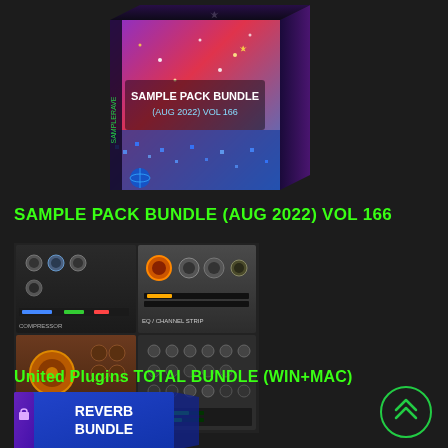[Figure (photo): 3D product box for Sample Pack Bundle (AUG 2022) VOL 166 with colorful music-themed cover art featuring purple, red, and blue gradient with music notes]
SAMPLE PACK BUNDLE (AUG 2022) VOL 166
[Figure (photo): Collage of audio plugin interfaces showing various synthesizer and effects unit GUIs with knobs, dials, and controls in brown/orange and dark grey color schemes]
United Plugins TOTAL BUNDLE (WIN+MAC)
[Figure (photo): Blue product box for Reverb Bundle with the text REVERB BUNDLE on it]